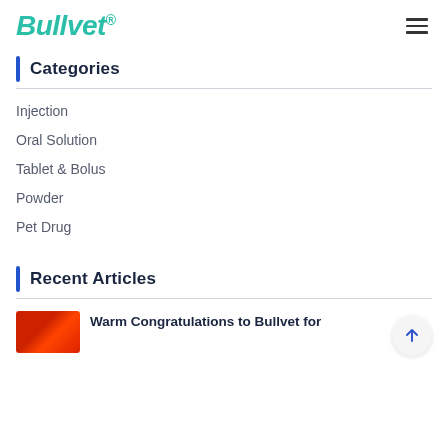Bullvet®
Categories
Injection
Oral Solution
Tablet & Bolus
Powder
Pet Drug
Recent Articles
Warm Congratulations to Bullvet for